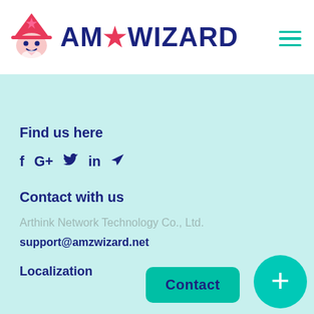[Figure (logo): AMZ Wizard logo with pink wizard hat icon and dark navy blue text reading AMZ WIZARD]
Find us here
f G+ in (social media icons: Facebook, Google+, Twitter, LinkedIn, Telegram)
Contact with us
Arthink Network Technology Co., Ltd.
support@amzwizard.net
Localization
Contact